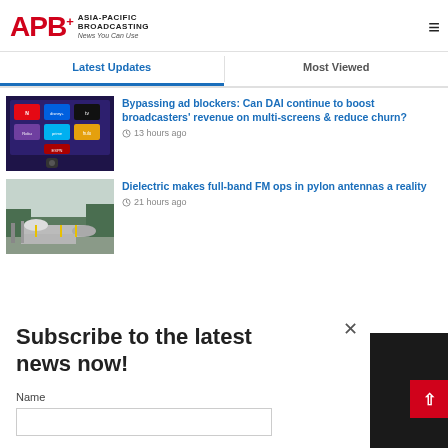APB+ Asia-Pacific Broadcasting — News You Can Use
Latest Updates
Most Viewed
[Figure (screenshot): Thumbnail image of a streaming device/Roku TV screen showing various streaming app icons]
Bypassing ad blockers: Can DAI continue to boost broadcasters' revenue on multi-screens & reduce churn?
13 hours ago
[Figure (photo): Outdoor photo of large cylindrical FM pylon antenna components on the ground with trees in background]
Dielectric makes full-band FM ops in pylon antennas a reality
21 hours ago
Subscribe to the latest news now!
Name